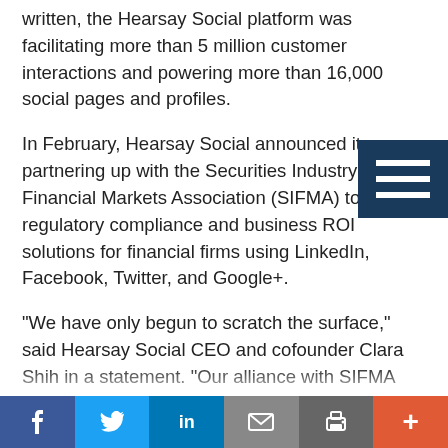written, the Hearsay Social platform was facilitating more than 5 million customer interactions and powering more than 16,000 social pages and profiles.
In February, Hearsay Social announced it was partnering up with the Securities Industry and Financial Markets Association (SIFMA) to enable regulatory compliance and business ROI solutions for financial firms using LinkedIn, Facebook, Twitter, and Google+.
"We have only begun to scratch the surface," said Hearsay Social CEO and cofounder Clara Shih in a statement. "Our alliance with SIFMA empowers firms with the proper systems, knowledge, and peace of mind to confidently embrace the incredible upside of social media while mitigating risk."
Hearsay Social's platform includes social CRM features that enable users to maintain records and receive alerts about their interactions with clients, social analytics, and a Social Compliance Module. The company updated its offerings this year with Hearsay Social for Facebook,
f  t  in  ✉  🖨  +